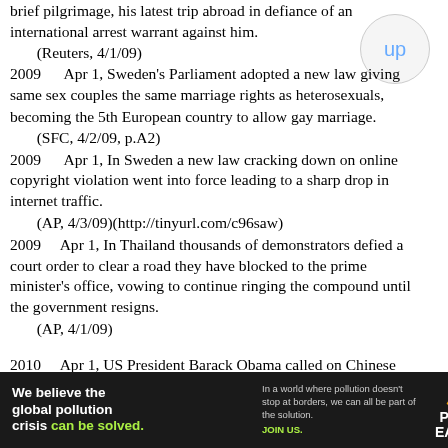brief pilgrimage, his latest trip abroad in defiance of an international arrest warrant against him.
(Reuters, 4/1/09)
2009     Apr 1, Sweden's Parliament adopted a new law giving same sex couples the same marriage rights as heterosexuals, becoming the 5th European country to allow gay marriage.
(SFC, 4/2/09, p.A2)
2009     Apr 1, In Sweden a new law cracking down on online copyright violation went into force leading to a sharp drop in internet traffic.
(AP, 4/3/09)(http://tinyurl.com/c96saw)
2009     Apr 1, In Thailand thousands of demonstrators defied a court order to clear a road they have blocked to the prime minister's office, vowing to continue ringing the compound until the government resigns.
(AP, 4/1/09)
2010     Apr 1, US President Barack Obama called on Chinese President Hu Jintao to join forces...
[Figure (other): Advertisement banner for Pure Earth: 'We believe the global pollution crisis can be solved.' with tagline about pollution not stopping at borders.]